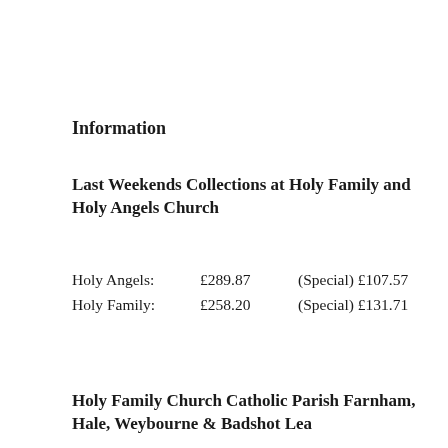Information
Last Weekends Collections at Holy Family and Holy Angels Church
| Holy Angels: | £289.87 | (Special) £107.57 |
| Holy Family: | £258.20 | (Special)  £131.71 |
Holy Family Church Catholic Parish Farnham, Hale, Weybourne & Badshot Lea